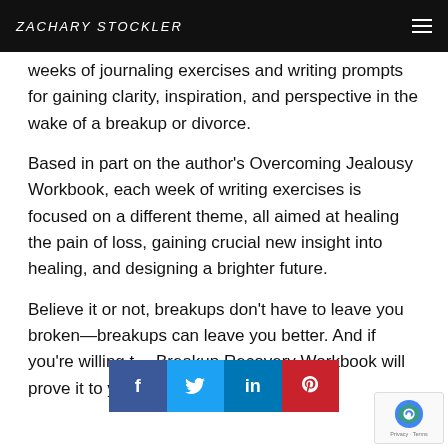ZACHARY STOCKLER
weeks of journaling exercises and writing prompts for gaining clarity, inspiration, and perspective in the wake of a breakup or divorce.
Based in part on the author's Overcoming Jealousy Workbook, each week of writing exercises is focused on a different theme, all aimed at healing the pain of loss, gaining crucial new insight into healing, and designing a brighter future.
Believe it or not, breakups don't have to leave you broken—breakups can leave you better. And if you're willing t… Breakup Recovery Workbook will prove it to you.
[Figure (screenshot): Social media share buttons for Facebook, Twitter, LinkedIn, and Pinterest]
[Figure (logo): Google reCAPTCHA badge with Privacy and Terms links]